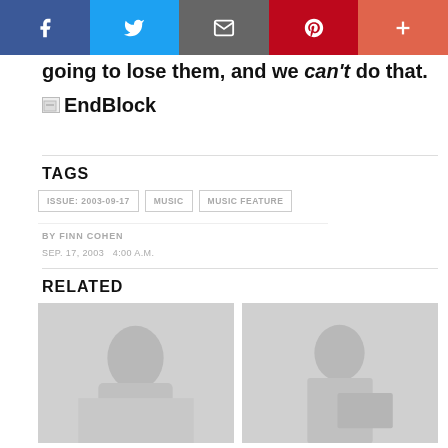[Figure (other): Social sharing bar with Facebook, Twitter, Email, Pinterest, and More buttons]
going to lose them, and we can't do that.
[Figure (other): EndBlock image placeholder]
TAGS
ISSUE: 2003-09-17   MUSIC   MUSIC FEATURE
BY FINN COHEN
SEP. 17, 2003   4:00 A.M.
RELATED
[Figure (photo): Black and white photo of a person playing guitar]
[Figure (photo): Black and white photo of a person sitting at a desk with papers]